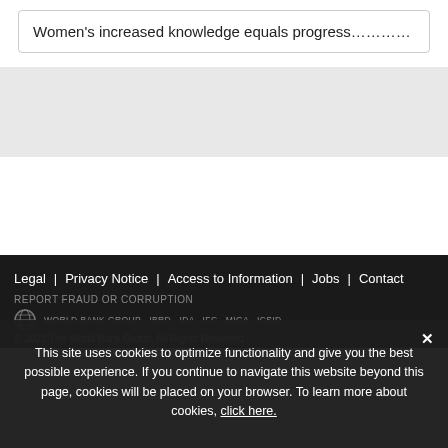Women's increased knowledge equals progress…………
Legal | Privacy Notice | Access to Information | Jobs | Contact
REPORT FRAUD OR CORRUPTION
WORLD BANK GROUP · IBRD · IDA · IFC · MIGA · ICSID
© 2022 The World Bank Group, All Rights Reserved
This site uses cookies to optimize functionality and give you the best possible experience. If you continue to navigate this website beyond this page, cookies will be placed on your browser. To learn more about cookies, click here.